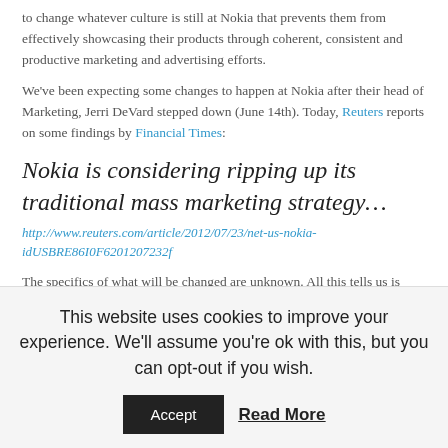to change whatever culture is still at Nokia that prevents them from effectively showcasing their products through coherent, consistent and productive marketing and advertising efforts.
We've been expecting some changes to happen at Nokia after their head of Marketing, Jerri DeVard stepped down (June 14th). Today, Reuters reports on some findings by Financial Times:
Nokia is considering ripping up its traditional mass marketing strategy…
http://www.reuters.com/article/2012/07/23/net-us-nokia-idUSBRE86I0F6201207232f
The specifics of what will be changed are unknown. All this tells us is
This website uses cookies to improve your experience. We'll assume you're ok with this, but you can opt-out if you wish.